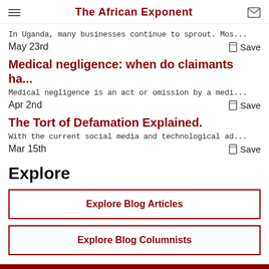The African Exponent
In Uganda, many businesses continue to sprout. Mos...
May 23rd   Save
Medical negligence: when do claimants ha...
Medical negligence is an act or omission by a medi...
Apr 2nd   Save
The Tort of Defamation Explained.
With the current social media and technological ad...
Mar 15th   Save
Explore
Explore Blog Articles
Explore Blog Columnists